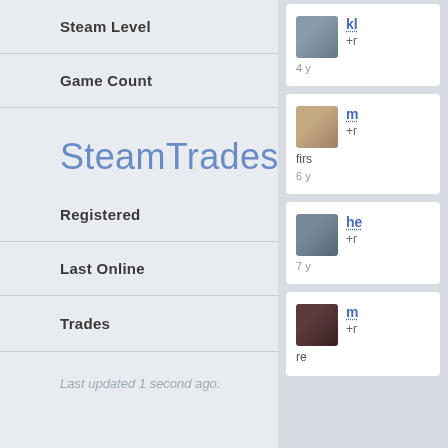|  |  |
| --- | --- |
| Steam Level | 350 |
| Game Count | 514 |
SteamTrades
|  |  |
| --- | --- |
| Registered | 9 years ago |
| Last Online | 6 months ago |
| Trades | 4 |
Last updated 1 second ago.